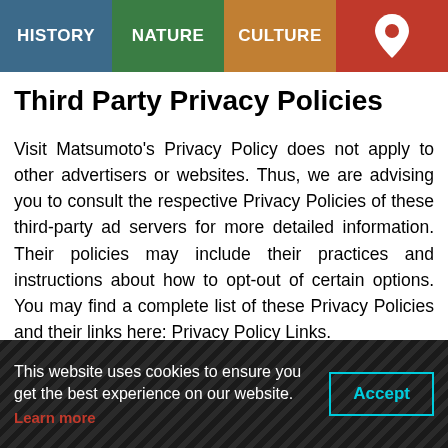HISTORY | NATURE | CULTURE | [location pin icon]
Third Party Privacy Policies
Visit Matsumoto’s Privacy Policy does not apply to other advertisers or websites. Thus, we are advising you to consult the respective Privacy Policies of these third-party ad servers for more detailed information. Their policies may include their practices and instructions about how to opt-out of certain options. You may find a complete list of these Privacy Policies and their links here: Privacy Policy Links.
You can choose to disable cookies through your individual browser settings. To learn more about cookie management with specific web browsers, check the browsers’ respective
This website uses cookies to ensure you get the best experience on our website. Learn more  [Accept button]